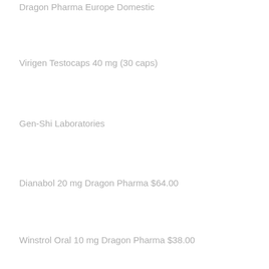Dragon Pharma Europe Domestic
Virigen Testocaps 40 mg (30 caps)
Gen-Shi Laboratories
Dianabol 20 mg Dragon Pharma $64.00
Winstrol Oral 10 mg Dragon Pharma $38.00